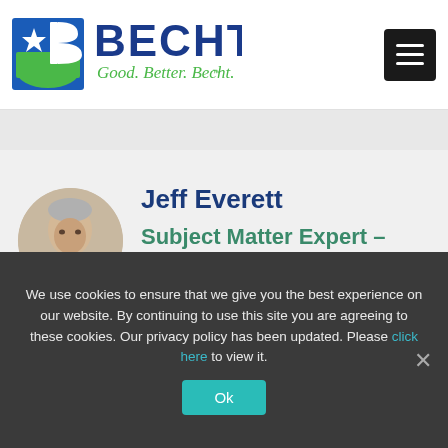[Figure (logo): Becht company logo with blue B icon and green swoosh, blue BECHT text, green tagline 'Good. Better. Becht.']
[Figure (other): Black hamburger menu button (three horizontal white lines on black background)]
Jeff Everett
Subject Matter Expert – Project Management
[Figure (photo): Circular profile photo of Jeff Everett, older male with gray hair]
We use cookies to ensure that we give you the best experience on our website. By continuing to use this site you are agreeing to these cookies. Our privacy policy has been updated. Please click here to view it.